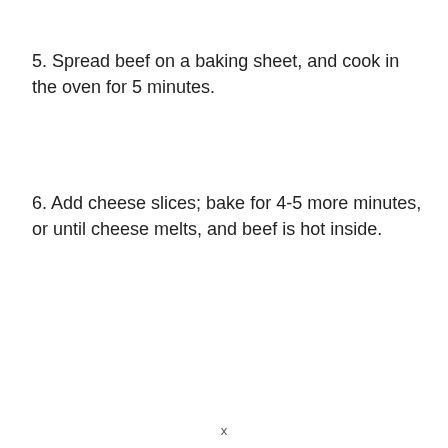5. Spread beef on a baking sheet, and cook in the oven for 5 minutes.
6. Add cheese slices; bake for 4-5 more minutes, or until cheese melts, and beef is hot inside.
x